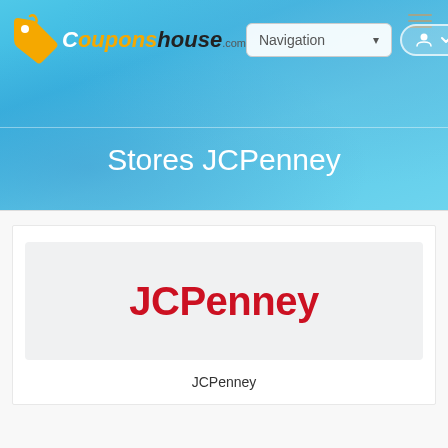[Figure (screenshot): CouponsHouse.com website header with logo, Navigation dropdown, and profile/account button on a blue background with subtle mountain/sky imagery]
Stores JCPenney
[Figure (logo): JCPenney logo in bold red text on a light gray background card]
JCPenney